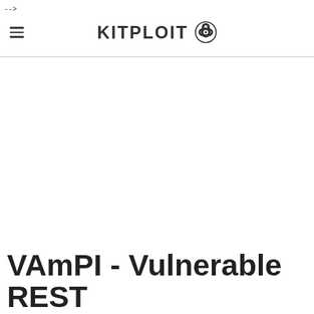-->
KITPLOIT ☣
VAmPI - Vulnerable REST